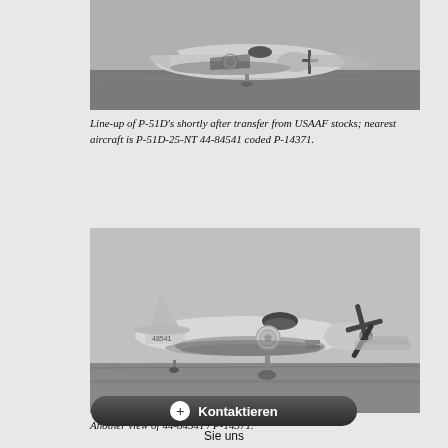[Figure (photo): Black and white photograph showing a line-up of P-51D aircraft on an airfield shortly after transfer from USAAF stocks. The nearest aircraft is visible in the foreground with other planes lined up behind it.]
Line-up of P-51D's shortly after transfer from USAAF stocks; nearest aircraft is P-51D-25-NT 44-84541 coded P-14371.
[Figure (photo): Black and white photograph showing a side view of P-51D Mustang aircraft 44-84541 / P-14371 on an airfield. The aircraft shows the Nationalist Chinese roundel marking on the fuselage.]
Another view of 44-84541 / P-14371.